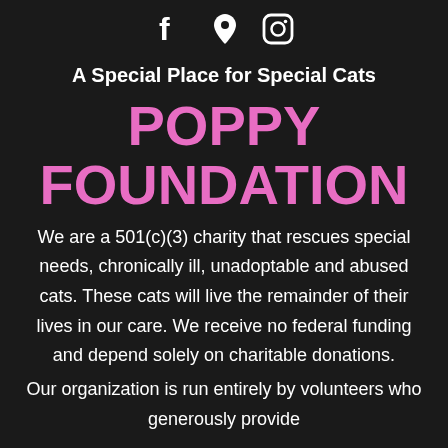[Figure (illustration): Three social media icons in white: Facebook (f), Location pin, and Instagram (camera in circle)]
A Special Place for Special Cats
POPPY FOUNDATION
We are a 501(c)(3) charity that rescues special needs, chronically ill, unadoptable and abused cats. These cats will live the remainder of their lives in our care. We receive no federal funding and depend solely on charitable donations.
Our organization is run entirely by volunteers who generously provide